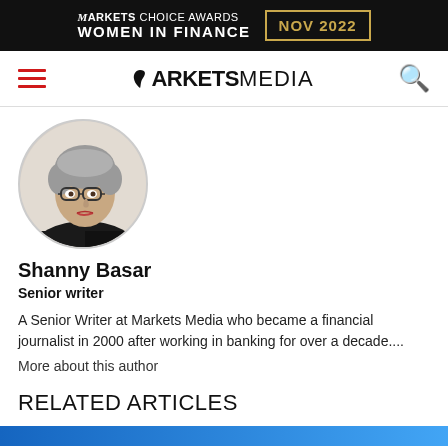[Figure (logo): Markets Choice Awards Women in Finance NOV 2022 banner advertisement on black background with gold border date box]
MARKETS MEDIA
[Figure (photo): Illustrated portrait of Shanny Basar, a woman with short grey hair and glasses, wearing a dark jacket]
Shanny Basar
Senior writer
A Senior Writer at Markets Media who became a financial journalist in 2000 after working in banking for over a decade....
More about this author
RELATED ARTICLES